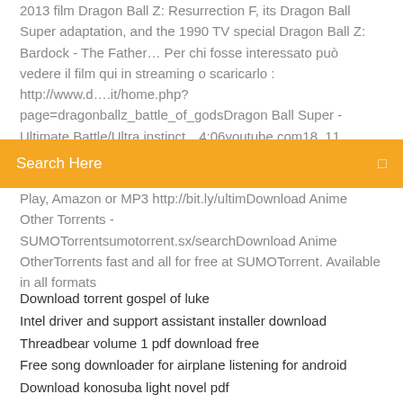2013 film Dragon Ball Z: Resurrection F, its Dragon Ball Super adaptation, and the 1990 TV special Dragon Ball Z: Bardock - The Father… Per chi fosse interessato può vedere il film qui in streaming o scaricarlo : http://www.d….it/home.php?page=dragonballz_battle_of_godsDragon Ball Super - Ultimate Battle/Ultra instinct…4:06youtube.com18. 11. 201752,802 mil.
Search Here
Play, Amazon or MP3 http://bit.ly/ultimDownload Anime Other Torrents - SUMOTorrentsumotorrent.sx/searchDownload Anime OtherTorrents fast and all for free at SUMOTorrent. Available in all formats
Download torrent gospel of luke
Intel driver and support assistant installer download
Threadbear volume 1 pdf download free
Free song downloader for airplane listening for android
Download konosuba light novel pdf
Netflix app download for firetv station